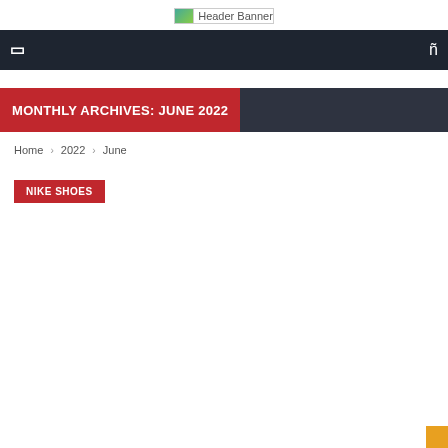[Figure (photo): Header Banner image placeholder]
Navigation bar with menu icon and search icon
MONTHLY ARCHIVES: JUNE 2022
Home › 2022 › June
NIKE SHOES